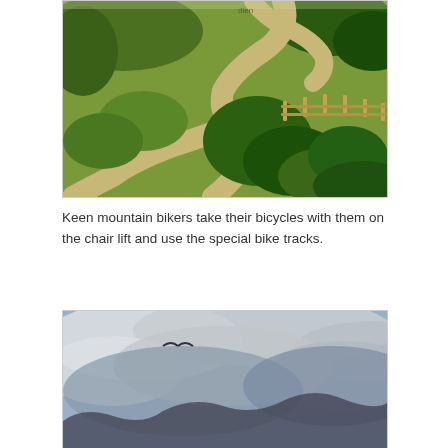[Figure (photo): Aerial view of winding dirt mountain bike tracks curving through green grass and shrubs, with a wooden fence visible on the right side.]
Keen mountain bikers take their bicycles with them on the chair lift and use the special bike tracks.
[Figure (photo): Partial view of a cloudy sky with some dark mountain silhouettes visible at the bottom, suggesting an overcast alpine scene.]